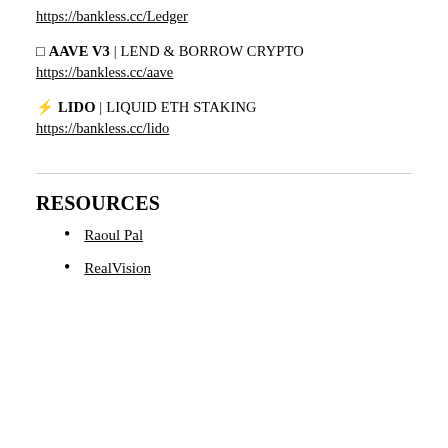https://bankless.cc/Ledger
◻ AAVE V3 | LEND & BORROW CRYPTO
https://bankless.cc/aave
⚡ LIDO | LIQUID ETH STAKING
https://bankless.cc/lido
RESOURCES
Raoul Pal
RealVision